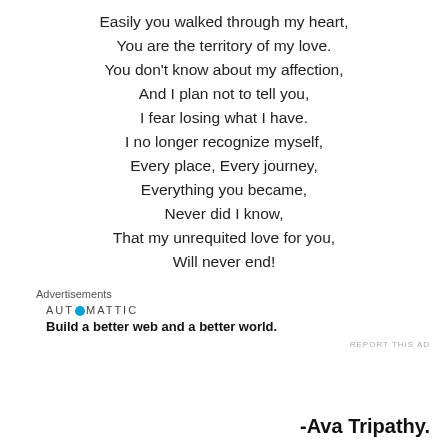Easily you walked through my heart,
You are the territory of my love.
You don't know about my affection,
And I plan not to tell you,
I fear losing what I have.
I no longer recognize myself,
Every place, Every journey,
Everything you became,
Never did I know,
That my unrequited love for you,
Will never end!
Advertisements
[Figure (logo): Automattic logo with tagline: Build a better web and a better world.]
REPORT THIS AD
-Ava Tripathy.